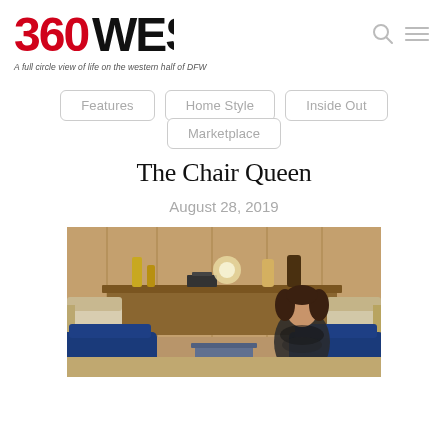360WEST — A full circle view of life on the western half of DFW
Features
Home Style
Inside Out
Marketplace
The Chair Queen
August 28, 2019
[Figure (photo): Woman with curly dark hair sitting in a blue velvet chair in a furnished showroom or studio, with a console table behind her holding decorative gold and black accessories, and two additional chairs visible.]